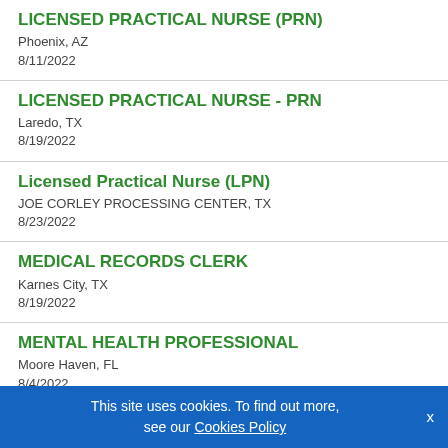LICENSED PRACTICAL NURSE (PRN)
Phoenix, AZ
8/11/2022
LICENSED PRACTICAL NURSE - PRN
Laredo, TX
8/19/2022
Licensed Practical Nurse (LPN)
JOE CORLEY PROCESSING CENTER, TX
8/23/2022
MEDICAL RECORDS CLERK
Karnes City, TX
8/19/2022
MENTAL HEALTH PROFESSIONAL
Moore Haven, FL
8/4/2022
This site uses cookies. To find out more, see our Cookies Policy